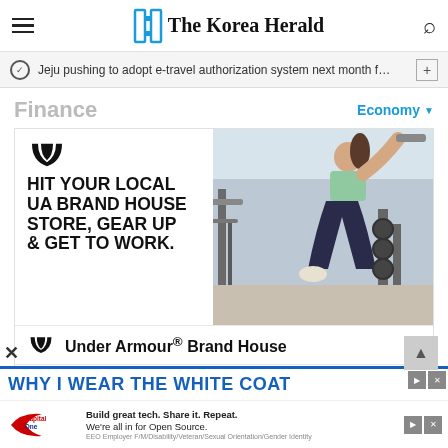The Korea Herald
Jeju pushing to adopt e-travel authorization system next month f…
Finance
Economy
[Figure (photo): Under Armour advertisement showing 'HIT YOUR LOCAL UA BRAND HOUSE STORE, GEAR UP & GET TO WORK.' with a woman working out in a gym, Under Armour Brand House store info for Tysons Corner 10AM–9PM]
WHY I WEAR THE WHITE COAT
Capital One — Build great tech. Share it. Repeat. We're all in for Open Source.